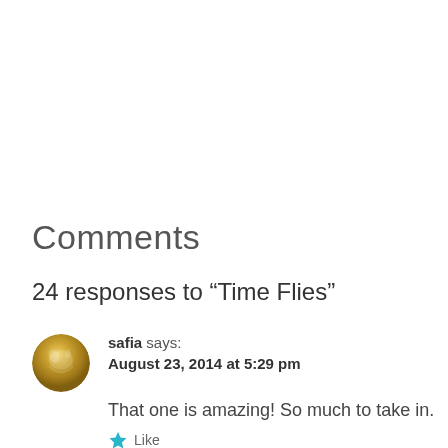Comments
24 responses to “Time Flies”
safia says: August 23, 2014 at 5:29 pm
That one is amazing! So much to take in.
Like